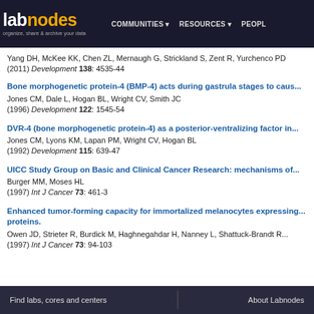labnodes — organize, share & archive your data | COMMUNITIES ▾ RESOURCES ▾ PEOPLE
Yang DH, McKee KK, Chen ZL, Mernaugh G, Strickland S, Zent R, Yurchenco PD (2011) Development 138: 4535-44
Bone morphogenetic protein-4 (BMP-4) acts during gastrula stages to caus...
Jones CM, Dale L, Hogan BL, Wright CV, Smith JC
(1996) Development 122: 1545-54
DVR-4 (bone morphogenetic protein-4) as a posterior-ventralizing factor in...
Jones CM, Lyons KM, Lapan PM, Wright CV, Hogan BL
(1992) Development 115: 639-47
UICC Study Group on Basic and Clinical Cancer Research: mechanisms of...
Burger MM, Moses HL
(1997) Int J Cancer 73: 461-3
Enhanced tumor-forming capacity for immortalized melanocytes expressing... proteins.
Owen JD, Strieter R, Burdick M, Haghnegahdar H, Nanney L, Shattuck-Brandt R...
(1997) Int J Cancer 73: 94-103
Find labs, cores and centers | About Labnodes